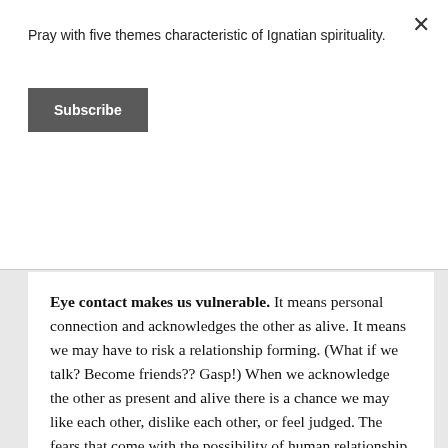Pray with five themes characteristic of Ignatian spirituality.
×
Subscribe
Eye contact makes us vulnerable. It means personal connection and acknowledges the other as alive. It means we may have to risk a relationship forming. (What if we talk? Become friends?? Gasp!) When we acknowledge the other as present and alive there is a chance we may like each other, dislike each other, or feel judged. The fears that come with the possibility of human relationship cause us to avoid something as simple as eye contact. A dog and a child have no such fears. Therefore, they need not worry about making eye contact with a